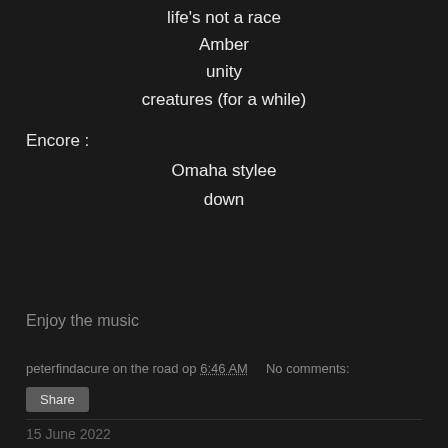life's not a race
Amber
unity
creatures (for a while)
Encore :
Omaha stylee
down
Enjoy the music
peterfindacure on the road op 6:46 AM    No comments:
15 June 2022